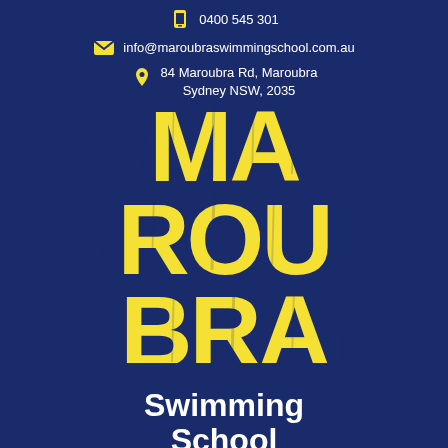0400 545 301
info@maroubraswimmingschool.com.au
84 Maroubra Rd, Maroubra
Sydney NSW, 2035
[Figure (logo): Maroubra Swimming School logo with large yellow distressed block letters spelling MAROUBRA, light blue wave decoration, and white text Swimming School on dark navy background]
Swimming School